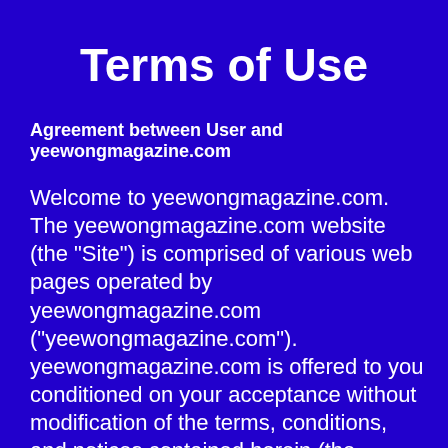Terms of Use
Agreement between User and yeewongmagazine.com
Welcome to yeewongmagazine.com. The yeewongmagazine.com website (the "Site") is comprised of various web pages operated by yeewongmagazine.com ("yeewongmagazine.com"). yeewongmagazine.com is offered to you conditioned on your acceptance without modification of the terms, conditions, and notices contained herein (the "Terms"). Your use of yeewongmagazine.com constitutes your agreement to all such Terms. Please read these terms carefully, and keep a copy of them for your reference. yeewongmagazine.com is a Free/Online discussion Site...